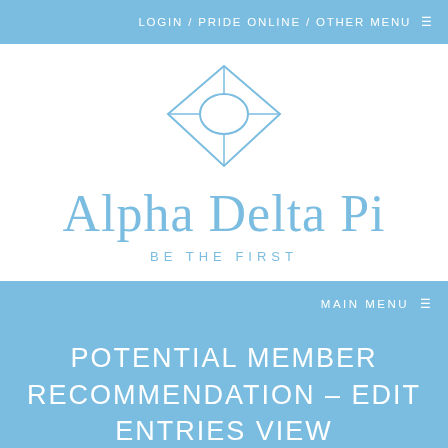LOGIN / PRIDE ONLINE / OTHER MENU ≡
[Figure (logo): Alpha Delta Pi diamond logo — outline diamond shape with inner facets, in light blue]
Alpha Delta Pi
BE THE FIRST
MAIN MENU ≡
POTENTIAL MEMBER RECOMMENDATION – EDIT ENTRIES VIEW